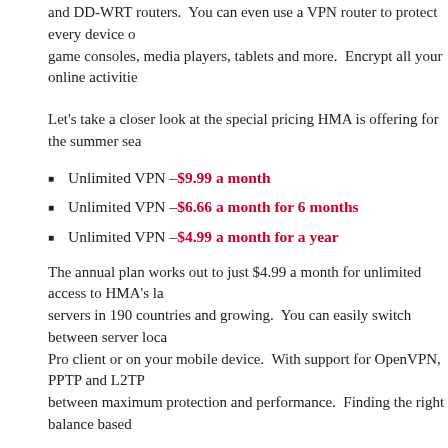and DD-WRT routers. You can even use a VPN router to protect every device o game consoles, media players, tablets and more. Encrypt all your online activitie
Let's take a closer look at the special pricing HMA is offering for the summer sea
Unlimited VPN – $9.99 a month
Unlimited VPN – $6.66 a month for 6 months
Unlimited VPN – $4.99 a month for a year
The annual plan works out to just $4.99 a month for unlimited access to HMA's la servers in 190 countries and growing. You can easily switch between server loca Pro client or on your mobile device. With support for OpenVPN, PPTP and L2TP between maximum protection and performance. Finding the right balance based
The Hide My Ass Summer Vacation promotion is already live. You won't need a c the offers. Just visit the Hide My Ass Summer Promotion page before the end
Filed Under: VPN Deals, VPN Services
HMA Launches Liberty Island Servers for US Strea
May 3, 2017 by VPN
It has been almost a year and a half since Netflix started blocking customers fro streaming service with a VPN. Today we're excited to share that HMA has added